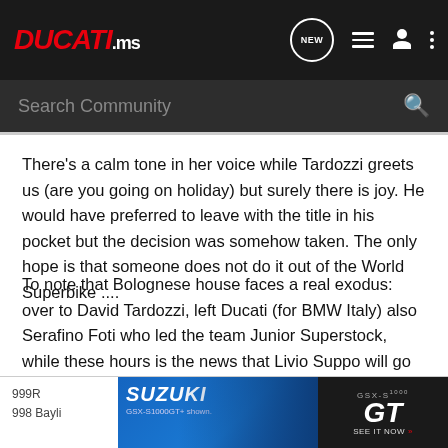DUCATI.ms
Search Community
There's a calm tone in her voice while Tardozzi greets us (are you going on holiday) but surely there is joy. He would have preferred to leave with the title in his pocket but the decision was somehow taken. The only hope is that someone does not do it out of the World Superbike ....
To note that Bolognese house faces a real exodus: over to David Tardozzi, left Ducati (for BMW Italy) also Serafino Foti who led the team Junior Superstock, while these hours is the news that Livio Suppo will go away to go HRC.
[Figure (screenshot): Suzuki GSX-S1000GT advertisement banner with motorcycle image and 'SEE IT NOW' call to action]